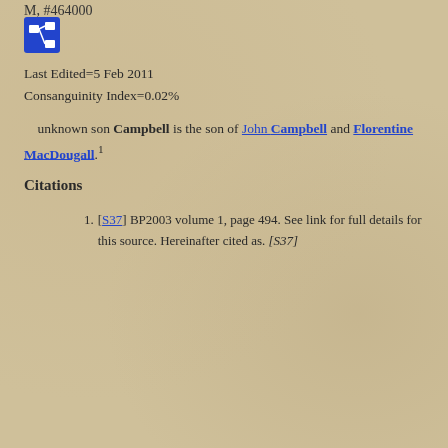M, #464000
[Figure (other): Blue icon with network/relationship diagram symbol]
Last Edited=5 Feb 2011
Consanguinity Index=0.02%
unknown son Campbell is the son of John Campbell and Florentine MacDougall.1
Citations
[S37] BP2003 volume 1, page 494. See link for full details for this source. Hereinafter cited as. [S37]